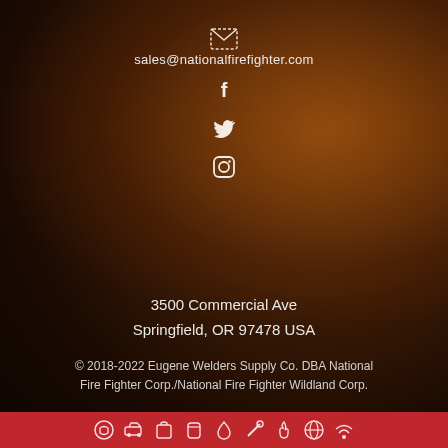sales@nationalfirefighter.com
[Figure (illustration): Social media icons: Facebook, Twitter, Instagram]
3500 Commercial Ave
Springfield, OR 97478 USA
© 2018-2022 Eugene Welders Supply Co. DBA National Fire Fighter Corp./National Fire Fighter Wildland Corp.
Privacy Policy
Site Design
Navigation icon bar